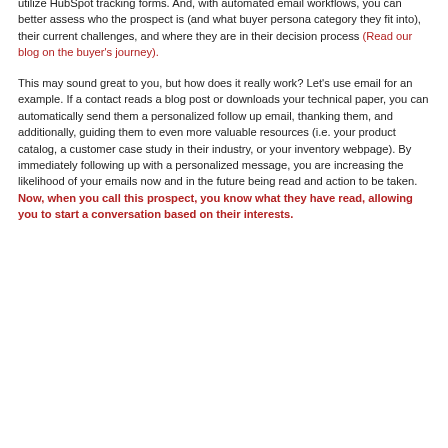The answer lies in continuously providing prospects with valuable content related to their unique goals and challenges. To capture this valuable marketing data, utilize HubSpot tracking forms. And, with automated email workflows, you can better assess who the prospect is (and what buyer persona category they fit into), their current challenges, and where they are in their decision process (Read our blog on the buyer's journey).
This may sound great to you, but how does it really work? Let's use email for an example. If a contact reads a blog post or downloads your technical paper, you can automatically send them a personalized follow up email, thanking them, and additionally, guiding them to even more valuable resources (i.e. your product catalog, a customer case study in their industry, or your inventory webpage). By immediately following up with a personalized message, you are increasing the likelihood of your emails now and in the future being read and action to be taken. Now, when you call this prospect, you know what they have read, allowing you to start a conversation based on their interests.